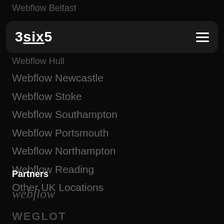Webflow Belfast
[Figure (logo): 3six5 logo with navigation bar on dark background, hamburger menu icon on right]
We...
Webflow Hull
Webflow Newcastle
Webflow Stoke
Webflow Southampton
Webflow Portsmouth
Webflow Northampton
Webflow Reading
Other UK Locations
Partners
[Figure (logo): webflow logo in italic serif font, grey color]
[Figure (logo): WEGLOT logo in bold uppercase sans-serif font, dark grey color]